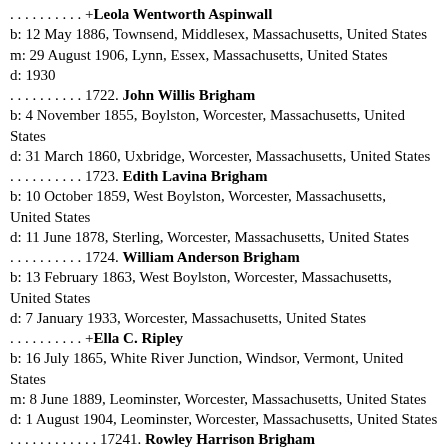. . . . . . . . . . +Leola Wentworth Aspinwall
b: 12 May 1886, Townsend, Middlesex, Massachusetts, United States
m: 29 August 1906, Lynn, Essex, Massachusetts, United States
d: 1930
. . . . . . . . . . 1722. John Willis Brigham
b: 4 November 1855, Boylston, Worcester, Massachusetts, United States
d: 31 March 1860, Uxbridge, Worcester, Massachusetts, United States
. . . . . . . . . . 1723. Edith Lavina Brigham
b: 10 October 1859, West Boylston, Worcester, Massachusetts, United States
d: 11 June 1878, Sterling, Worcester, Massachusetts, United States
. . . . . . . . . . 1724. William Anderson Brigham
b: 13 February 1863, West Boylston, Worcester, Massachusetts, United States
d: 7 January 1933, Worcester, Massachusetts, United States
. . . . . . . . . . +Ella C. Ripley
b: 16 July 1865, White River Junction, Windsor, Vermont, United States
m: 8 June 1889, Leominster, Worcester, Massachusetts, United States
d: 1 August 1904, Leominster, Worcester, Massachusetts, United States
. . . . . . . . . . . . 17241. Rowley Harrison Brigham
b: 1 June 1890, Leominster, Worcester, Massachusetts, United States